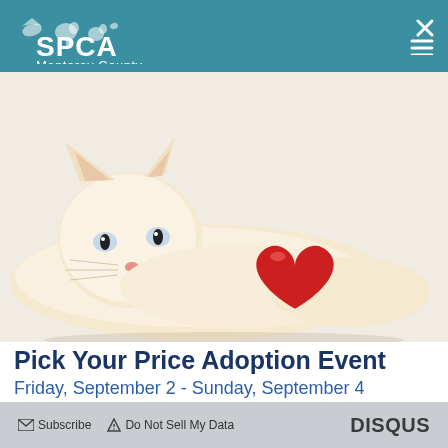SPCA Monterey County
[Figure (photo): A fluffy cream-colored cat lying on its side, resting its chin on the ground, with a red plush heart toy in front of it. White background.]
Pick Your Price Adoption Event
Friday, September 2 - Sunday, September 4
Subscribe  Do Not Sell My Data  DISQUS